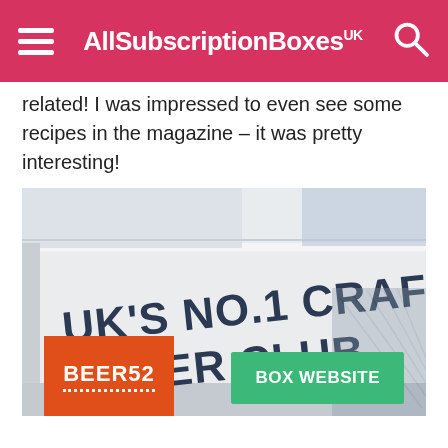AllSubscriptionBoxes UK
related! I was impressed to even see some recipes in the magazine – it was pretty interesting!
[Figure (photo): A white cardboard box with bold dark navy text reading "UK'S NO.1 CRAFT BEER CLUB" printed on the side, with a decorative label or illustration partially visible on the right edge of the box.]
[Figure (logo): Beer52 logo: orange/red square background with white bold text BEER52 and a dotted underline]
BOX WEBSITE